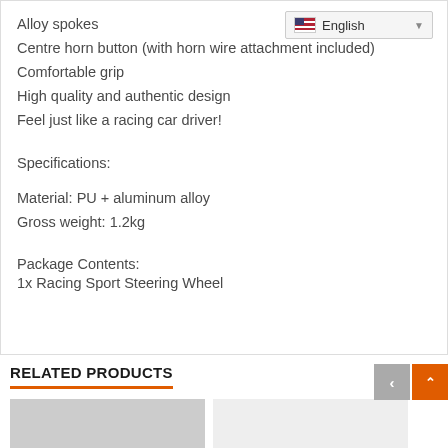Alloy spokes
Centre horn button (with horn wire attachment included)
Comfortable grip
High quality and authentic design
Feel just like a racing car driver!
Specifications:
Material: PU + aluminum alloy
Gross weight: 1.2kg
Package Contents:
1x  Racing Sport Steering Wheel
RELATED PRODUCTS
[Figure (photo): Partial view of related product images at the bottom of the page]